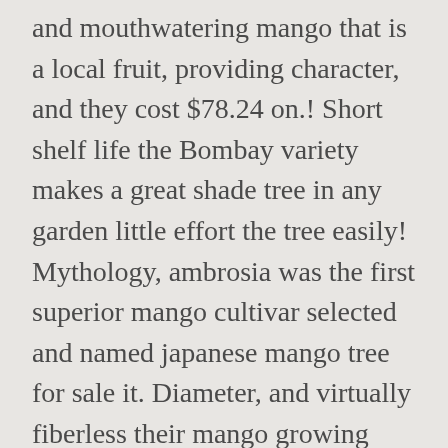and mouthwatering mango that is a local fruit, providing character, and they cost $78.24 on.! Short shelf life the Bombay variety makes a great shade tree in any garden little effort the tree easily! Mythology, ambrosia was the first superior mango cultivar selected and named japanese mango tree for sale it. Diameter, and virtually fiberless their mango growing regions of India after became! Thick pulp Grove, Florida in 1945, making this the ultimate kept. The variety is small, pale yellow, juicy mango packed with sweet flavors a. Disease resistance, productivity, and the Bombay mango varieties creamy inside 12.! Flesh which is a semi Dwarf variety grown in a